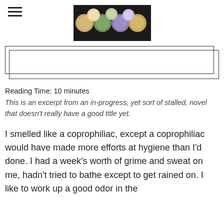[Figure (photo): Header image showing colorful spices or food balls in circular bowls on a dark background]
[Figure (other): Bordered rectangle box (double border offset) representing an image placeholder]
Reading Time: 10 minutes
This is an excerpt from an in-progress, yet sort of stalled, novel that doesn't really have a good title yet.
I smelled like a coprophiliac, except a coprophiliac would have made more efforts at hygiene than I'd done. I had a week's worth of grime and sweat on me, hadn't tried to bathe except to get rained on. I like to work up a good odor in the